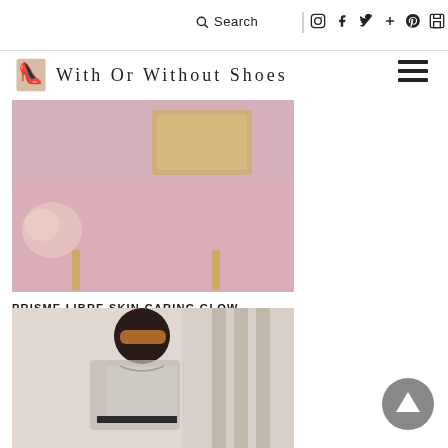Search | [social icons] [menu]
With Or Without Shoes
[Figure (photo): Pink velvet stool with gold geometric jewelry box on top, beauty/vanity setting]
PRISME LIBRE SKIN-CARING GLOW, LA NUEVA BASE DE MAQUILLAJE FLUIDA DE GIVENCHY QUE DIFUMINA, HIDRATA E ILUMINA
[Figure (photo): Young woman with long dark hair wearing orange tinted sunglasses, white t-shirt, gray blazer and black belt, standing outdoors]